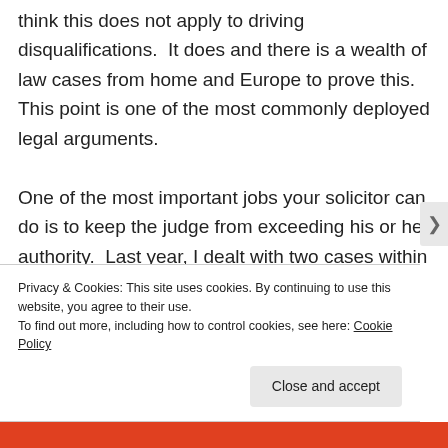think this does not apply to driving disqualifications.  It does and there is a wealth of law cases from home and Europe to prove this.  This point is one of the most commonly deployed legal arguments.

One of the most important jobs your solicitor can do is to keep the judge from exceeding his or her authority.  Last year, I dealt with two cases within a week of one another where the District Judge...
Privacy & Cookies: This site uses cookies. By continuing to use this website, you agree to their use.
To find out more, including how to control cookies, see here: Cookie Policy
Close and accept